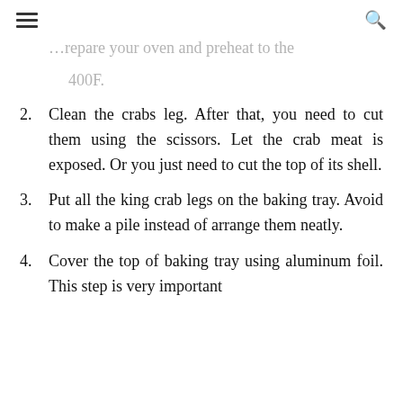≡  🔍
1. Prepare your oven and preheat to the 400F.
2. Clean the crabs leg. After that, you need to cut them using the scissors. Let the crab meat is exposed. Or you just need to cut the top of its shell.
3. Put all the king crab legs on the baking tray. Avoid to make a pile instead of arrange them neatly.
4. Cover the top of baking tray using aluminum foil. This step is very important